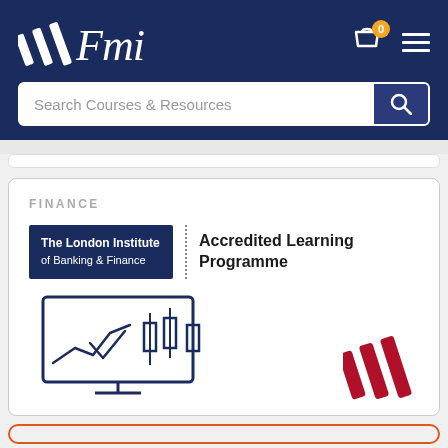[Figure (logo): FMI logo with three diagonal bars and italic Fmi text in white on dark blue background]
Search Courses & Resources
FINANCE
[Figure (logo): The London Institute of Banking & Finance logo with Accredited Learning Programme text]
[Figure (illustration): Computer monitor showing line chart and candlestick charts in navy blue outline style, with FMI crimson bars logo to the right]